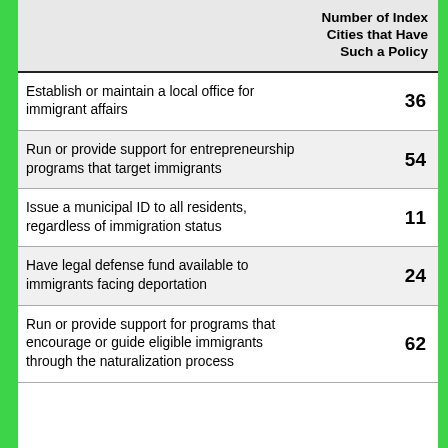|  | Number of Index Cities that Have Such a Policy |
| --- | --- |
| Establish or maintain a local office for immigrant affairs | 36 |
| Run or provide support for entrepreneurship programs that target immigrants | 54 |
| Issue a municipal ID to all residents, regardless of immigration status | 11 |
| Have legal defense fund available to immigrants facing deportation | 24 |
| Run or provide support for programs that encourage or guide eligible immigrants through the naturalization process | 62 |